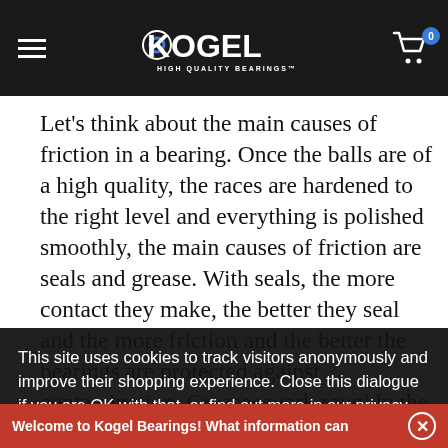Kogel Bearings — navigation bar with hamburger menu, logo, and cart icon (0 items)
Let's think about the main causes of friction in a bearing. Once the balls are of a high quality, the races are hardened to the right level and everything is polished smoothly, the main causes of friction are seals and grease. With seals, the more contact they make, the better they seal and the more friction and the better the bearings are protected against contamination. Greases work roughly the same: thick, water proof grease adds a lot of friction, but better protection. A
This site uses cookies to track visitors anonymously and improve their shopping experience. Close this dialogue if you are OK with that, or find out more in our privacy policy Learn More
OKAY
Welcome to Kogel Bearings! What information can